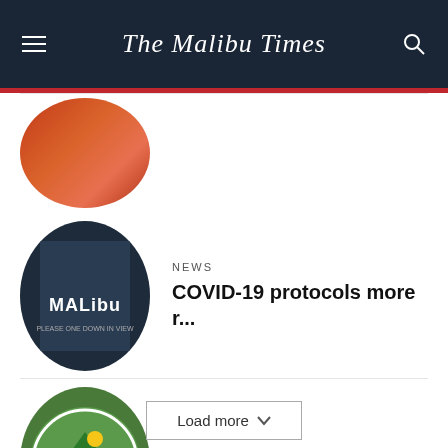The Malibu Times
[Figure (photo): Circular thumbnail image, partially cut off at top, showing red/orange tones]
NEWS
COVID-19 protocols more r...
[Figure (photo): Circular thumbnail showing a Malibu storefront sign reading MALIBU]
NEWS
Discussion on Next Week&#...
[Figure (logo): Circular thumbnail showing City of Malibu official seal/logo with mountain and ocean]
Load more